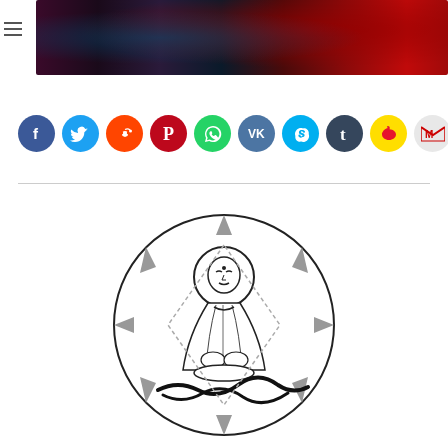[Figure (photo): Dark image with red and blue tones, appears to be a scene with dramatic lighting]
[Figure (infographic): Row of social media share buttons: Facebook (dark blue), Twitter (light blue), Reddit (orange), Pinterest (red), WhatsApp (green), VK (blue), Skype (cyan), Tumblr (dark navy), Weibo (yellow), Gmail (red/white)]
[Figure (illustration): Black and white illustration of a meditating Buddha or saint figure seated in lotus position, surrounded by a circular halo and geometric sun-ray border with decorative snake or vine elements at the bottom]